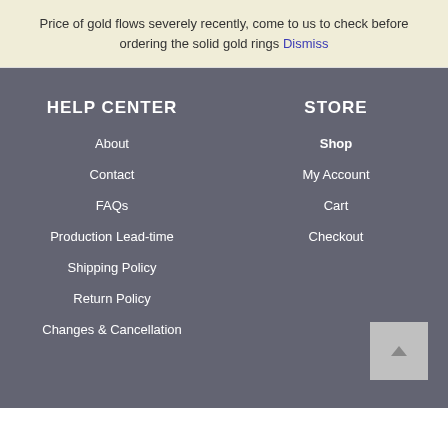Price of gold flows severely recently, come to us to check before ordering the solid gold rings Dismiss
HELP CENTER
About
Contact
FAQs
Production Lead-time
Shipping Policy
Return Policy
Changes & Cancellation
STORE
Shop
My Account
Cart
Checkout